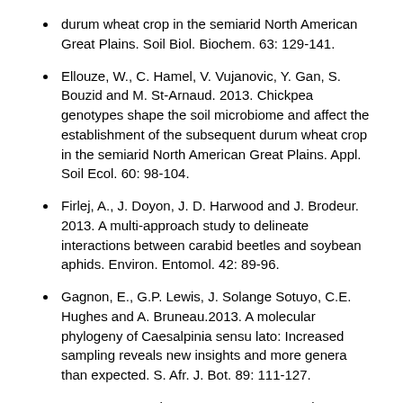durum wheat crop in the semiarid North American Great Plains. Soil Biol. Biochem. 63: 129-141.
Ellouze, W., C. Hamel, V. Vujanovic, Y. Gan, S. Bouzid and M. St-Arnaud. 2013. Chickpea genotypes shape the soil microbiome and affect the establishment of the subsequent durum wheat crop in the semiarid North American Great Plains. Appl. Soil Ecol. 60: 98-104.
Firlej, A., J. Doyon, J. D. Harwood and J. Brodeur. 2013. A multi-approach study to delineate interactions between carabid beetles and soybean aphids. Environ. Entomol. 42: 89-96.
Gagnon, E., G.P. Lewis, J. Solange Sotuyo, C.E. Hughes and A. Bruneau.2013. A molecular phylogeny of Caesalpinia sensu lato: Increased sampling reveals new insights and more genera than expected. S. Afr. J. Bot. 89: 111-127.
Gagnon, V., F. Chazarenc, Y. Comeau and J. Brisson. 2013. Effect of plant species on sludge dewatering and fate of